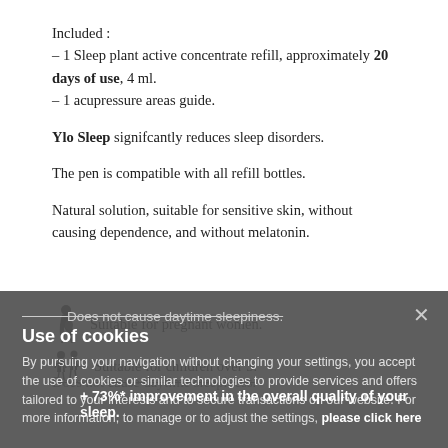Included :
– 1 Sleep plant active concentrate refill, approximately 20 days of use, 4 ml.
– 1 acupressure areas guide.
Ylo Sleep signifcantly reduces sleep disorders.
The pen is compatible with all refill bottles.
Natural solution, suitable for sensitive skin, without causing dependence, and without melatonin.
Suitable for pregnant women.
Suitable for children over 3.
Does not cause daytime sleepiness.
+ 73%* improvement in the overall quality of your sleep.
Use of cookies
By pursuing your navigation without changing your settings, you accept the use of cookies or similar technologies to provide services and offers tailored to your interests and to secure transactions on our website. For more information, to manage or to adjust the settings, please click here